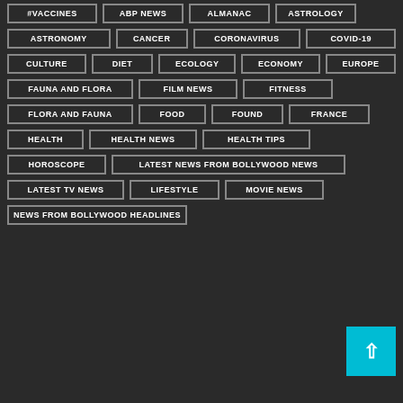#VACCINES
ABP NEWS
ALMANAC
ASTROLOGY
ASTRONOMY
CANCER
CORONAVIRUS
COVID-19
CULTURE
DIET
ECOLOGY
ECONOMY
EUROPE
FAUNA AND FLORA
FILM NEWS
FITNESS
FLORA AND FAUNA
FOOD
FOUND
FRANCE
HEALTH
HEALTH NEWS
HEALTH TIPS
HOROSCOPE
LATEST NEWS FROM BOLLYWOOD NEWS
LATEST TV NEWS
LIFESTYLE
MOVIE NEWS
NEWS FROM BOLLYWOOD HEADLINES